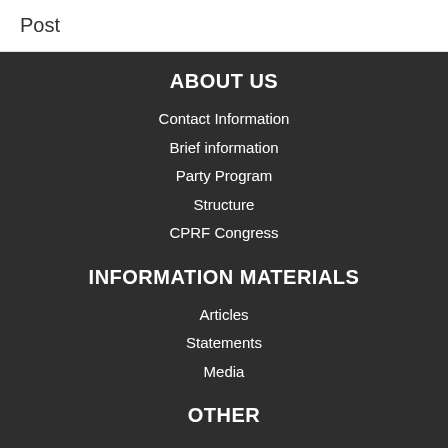Post
ABOUT US
Contact Information
Brief information
Party Program
Structure
CPRF Congress
INFORMATION MATERIALS
Articles
Statements
Media
OTHER